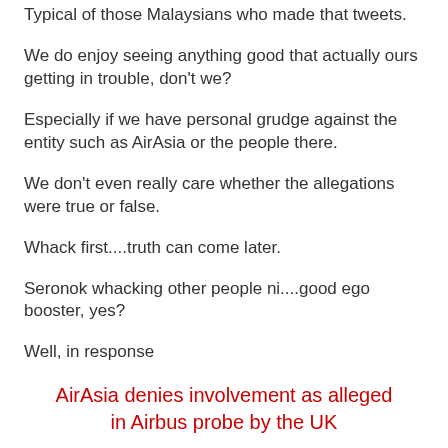Typical of those Malaysians who made that tweets.
We do enjoy seeing anything good that actually ours getting in trouble, don't we?
Especially if we have personal grudge against the entity such as AirAsia or the people there.
We don't even really care whether the allegations were true or false.
Whack first....truth can come later.
Seronok whacking other people ni....good ego booster, yes?
Well, in response
AirAsia denies involvement as alleged in Airbus probe by the UK
But, do we care?